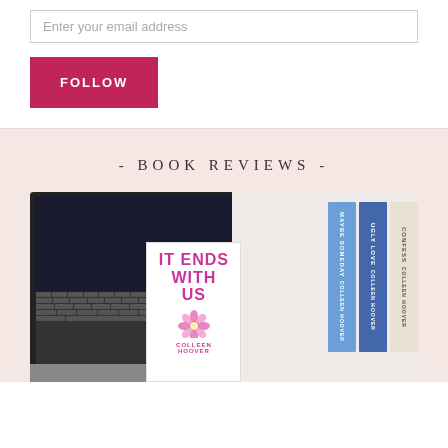Enter your email address
FOLLOW
- BOOK REVIEWS -
[Figure (photo): Photo of an open laptop computer beside a stack of Colleen Hoover books including 'It Ends With Us', 'Maybe Someday', 'Ugly Love', and 'Confess']